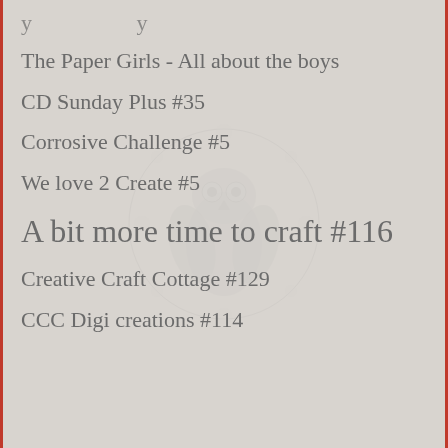The Paper Girls - All about the boys
CD Sunday Plus #35
Corrosive Challenge #5
We love 2 Create #5
A bit more time to craft #116
Creative Craft Cottage #129
CCC Digi creations #114